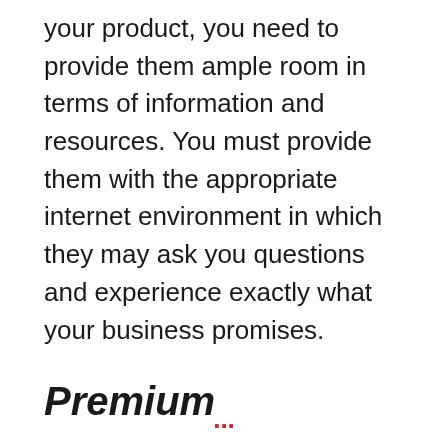your product, you need to provide them ample room in terms of information and resources. You must provide them with the appropriate internet environment in which they may ask you questions and experience exactly what your business promises.
Premium
UUKI allows you to host and develop a paid/premium community with the ability to charge for digital items.